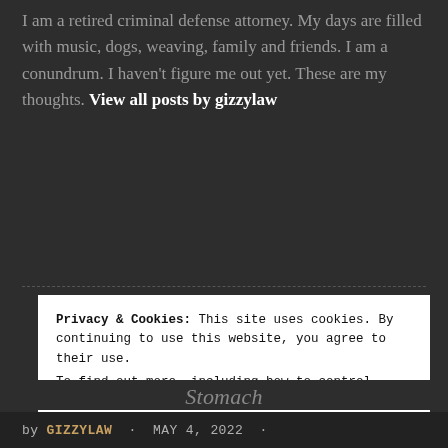I am a retired criminal defense attorney. My days are filled with music, dogs, weaving, family and friends. I am a conundrum. I haven't figure me out yet. These are my thoughts. View all posts by gizzylaw
[Figure (other): Horizontal dashed divider line separating bio section from cookie banner]
Privacy & Cookies: This site uses cookies. By continuing to use this website, you agree to their use.
To find out more, including how to control cookies, see here: Our Cookie Policy
Close and accept
by GIZZYLAW · MAY 4, 2022 ·